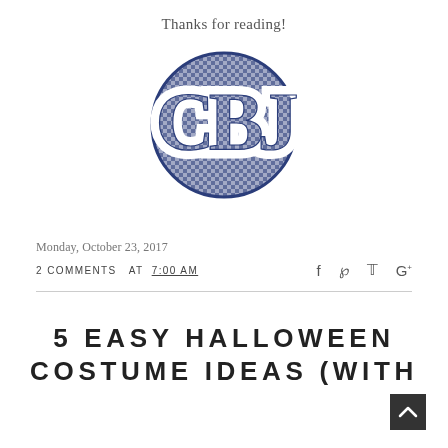Thanks for reading!
[Figure (logo): Circular monogram logo with letters CBJ in a navy blue gingham/plaid pattern]
Monday, October 23, 2017
2 COMMENTS  AT  7:00 AM
5 EASY HALLOWEEN COSTUME IDEAS (WITH